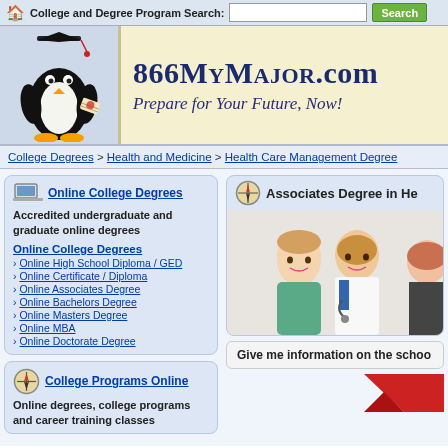College and Degree Program Search: [search box] [Search button]
[Figure (screenshot): 866MyMajor.com website banner with penguin mascot wearing graduation cap and holding diploma, alongside site name '866MyMajor.com' and tagline 'Prepare for Your Future, Now!']
College Degrees > Health and Medicine > Health Care Management Degree
Online College Degrees
Accredited undergraduate and graduate online degrees
Online College Degrees
Online High School Diploma / GED
Online Certificate / Diploma
Online Associates Degree
Online Bachelors Degree
Online Masters Degree
Online MBA
Online Doctorate Degree
College Programs Online
Online degrees, college programs and career training classes
Associates Degree in He[alth Care Management]
[Figure (photo): Three smiling healthcare professionals in scrubs and white coats]
Give me information on the schoo[ls]